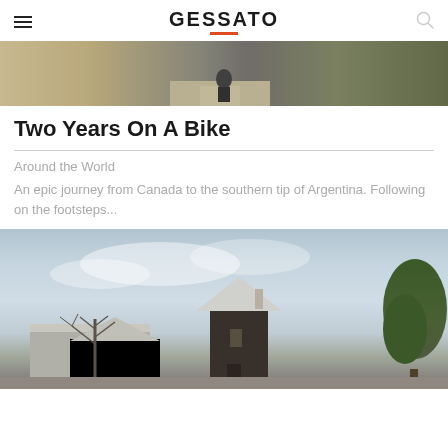GESSATO
[Figure (photo): Hero image showing a road scene, likely with a motorcycle or bike on a sandy/unpaved road with trees in the background]
Two Years On A Bike
Around the World
An epic journey from Canada to the southern tip of Argentina. Following on the footsteps...
[Figure (photo): Photograph of dark barn-style house with white roof against a cloudy sky, with bare trees on the left and green trees on the right]